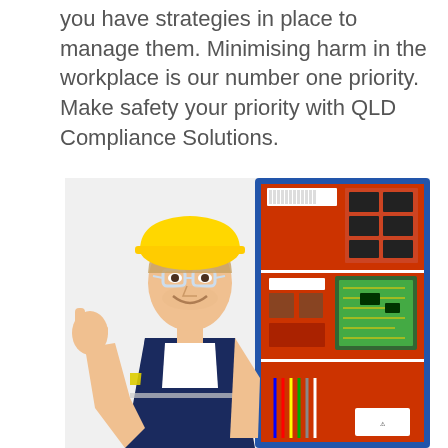you have strategies in place to manage them. Minimising harm in the workplace is our number one priority. Make safety your priority with QLD Compliance Solutions.
[Figure (photo): A smiling male worker wearing a yellow hard hat, safety goggles, white t-shirt and dark navy blue high-visibility vest with yellow reflective stripes, giving a thumbs up gesture. He is standing in front of a large red electrical control panel with circuit boards, wiring and components mounted inside.]